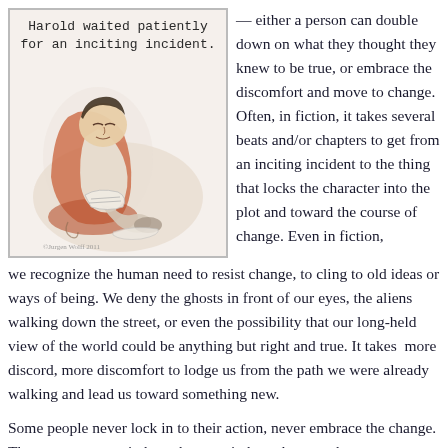[Figure (illustration): A watercolor-style illustration of a man sitting curled in a chair, eyes closed, reading a book. Caption text above reads: 'Harold waited patiently for an inciting incident.' Copyright mark '©Jurgen Wolff 2011' at bottom.]
— either a person can double down on what they thought they knew to be true, or embrace the discomfort and move to change. Often, in fiction, it takes several beats and/or chapters to get from an inciting incident to the thing that locks the character into the plot and toward the course of change. Even in fiction, we recognize the human need to resist change, to cling to old ideas or ways of being. We deny the ghosts in front of our eyes, the aliens walking down the street, or even the possibility that our long-held view of the world could be anything but right and true. It takes  more discord, more discomfort to lodge us from the path we were already walking and lead us toward something new.
Some people never lock in to their action, never embrace the change. They stay constant in how they act, in how they see the